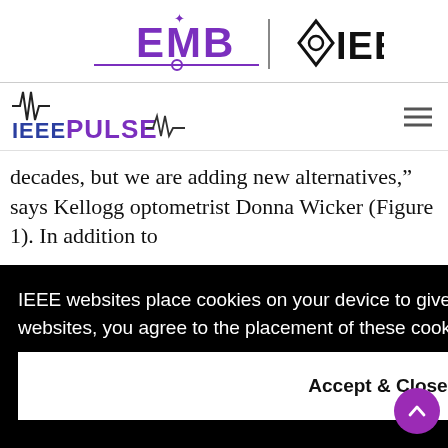EMB | IEEE
[Figure (logo): IEEE PULSE logo with EKG signal graphic]
decades, but we are adding new alternatives," says Kellogg optometrist Donna Wicker (Figure 1). In addition to
IEEE websites place cookies on your device to give you the best user experience. By using our websites, you agree to the placement of these cookies. To learn more, read our Privacy Policy.
Accept & Close